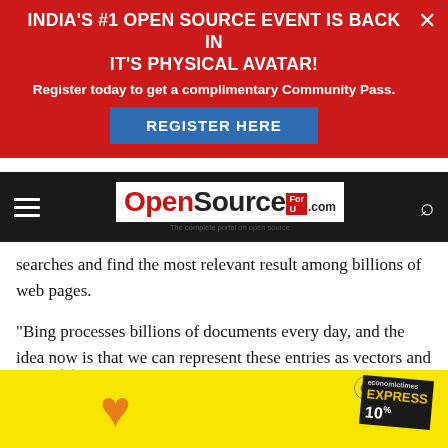INDIA'S #1 OPEN SOURCE EVENT IS BACK IN IT'S PHYSICAL AVATAR!
Register today to get a complimentary Community Pass.
REGISTER HERE
[Figure (logo): OpenSource For U .com logo — red Open, black Source, red ForU badge, tagline: The complete portal on open source]
searches and find the most relevant result among billions of web pages.
“Bing processes billions of documents every day, and the idea now is that we can represent these entries as vectors and search through this giant index of 100 billion-plus vectors to find the most related results in 5 milliseconds,” said Jeffrey Zhu, program manager on Microsoft’s Bing team.
AI tool f
[Figure (photo): Yellow advertisement banner with orange heart icon and Economic Express newspaper ad, with close button]